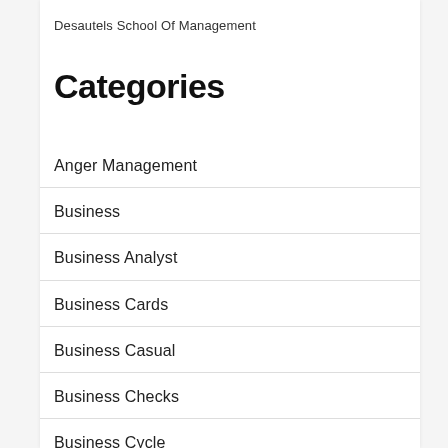Desautels School Of Management
Categories
Anger Management
Business
Business Analyst
Business Cards
Business Casual
Business Checks
Business Cycle
Business License